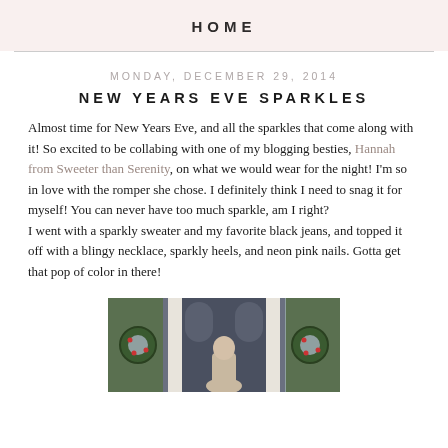HOME
MONDAY, DECEMBER 29, 2014
NEW YEARS EVE SPARKLES
Almost time for New Years Eve, and all the sparkles that come along with it! So excited to be collabing with one of my blogging besties, Hannah from Sweeter than Serenity, on what we would wear for the night! I'm so in love with the romper she chose. I definitely think I need to snag it for myself! You can never have too much sparkle, am I right?
I went with a sparkly sweater and my favorite black jeans, and topped it off with a blingy necklace, sparkly heels, and neon pink nails. Gotta get that pop of color in there!
[Figure (photo): A woman standing in front of a navy/grey door with decorative columns and holiday greenery wreaths on either side]